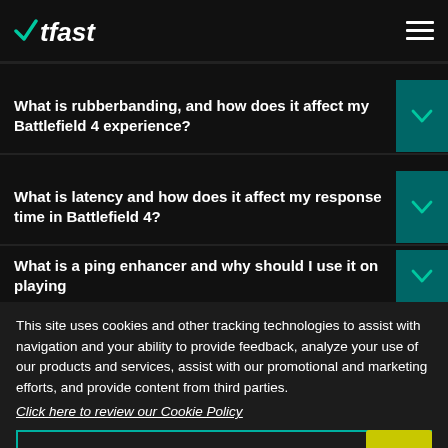WTFast logo and navigation header
What is rubberbanding, and how does it affect my Battlefield 4 experience?
What is latency and how does it affect my response time in Battlefield 4?
What is a ping enhancer and why should I use it on playing
This site uses cookies and other tracking technologies to assist with navigation and your ability to provide feedback, analyze your use of our products and services, assist with our promotional and marketing efforts, and provide content from third parties.
Click here to review our Cookie Policy
ACCEPT ALL
Accept mandatory and performance